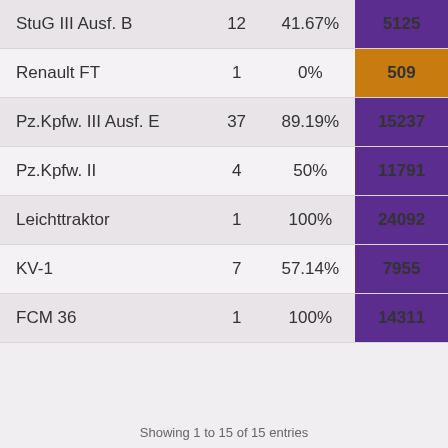|  |  |  |  |
| --- | --- | --- | --- |
| StuG III Ausf. B | 12 | 41.67% | 5125 |
| Renault FT | 1 | 0% | 509 |
| Pz.Kpfw. III Ausf. E | 37 | 89.19% | 15237 |
| Pz.Kpfw. II | 4 | 50% | 11791 |
| Leichttraktor | 1 | 100% | 24092 |
| KV-1 | 7 | 57.14% | 7955 |
| FCM 36 | 1 | 100% | 14311 |
This website uses cookies to ensure you get the best experience on our website. Learn more
Got it!
Showing 1 to 15 of 15 entries